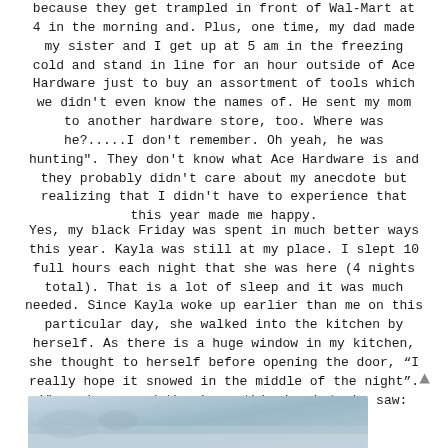because they get trampled in front of Wal-Mart at 4 in the morning and. Plus, one time, my dad made my sister and I get up at 5 am in the freezing cold and stand in line for an hour outside of Ace Hardware just to buy an assortment of tools which we didn't even know the names of. He sent my mom to another hardware store, too. Where was he?.....I don't remember. Oh yeah, he was hunting". They don't know what Ace Hardware is and they probably didn't care about my anecdote but realizing that I didn't have to experience that this year made me happy.
Yes, my black Friday was spent in much better ways this year. Kayla was still at my place. I slept 10 full hours each night that she was here (4 nights total). That is a lot of sleep and it was much needed. Since Kayla woke up earlier than me on this particular day, she walked into the kitchen by herself. As there is a huge window in my kitchen, she thought to herself before opening the door, “I really hope it snowed in the middle of the night”. When she opened the door, this is what she saw:
[Figure (photo): Partial view of a snow scene photo, cropped at the bottom of the page]